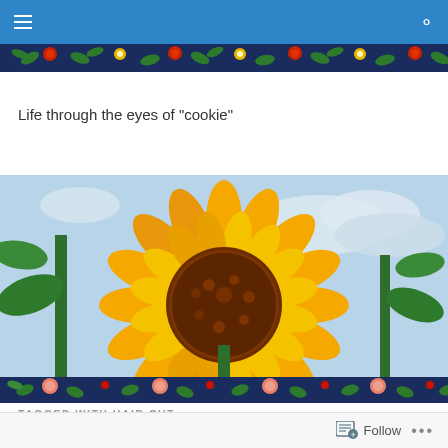Navigation bar with menu and search icons
[Figure (illustration): Decorative floral strip with dark navy background, red and orange flowers, green leaves pattern]
Life through the eyes of "cookie"
[Figure (photo): Close-up photograph of a large sunflower with bright orange-yellow petals and a dark brown center, with green leaves and cloudy blue sky in background]
[Figure (illustration): Decorative floral strip with dark navy background, peach and red flowers, green leaves pattern]
TAGGED WITH HAIR CUT
Follow ...